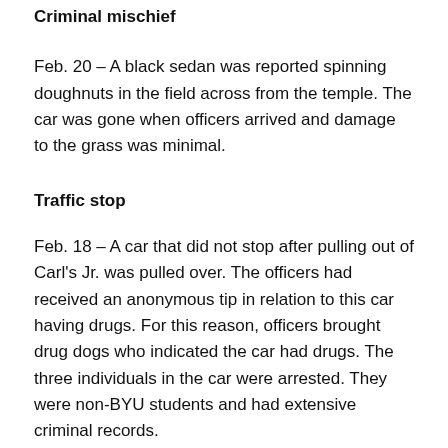Criminal mischief
Feb. 20 – A black sedan was reported spinning doughnuts in the field across from the temple. The car was gone when officers arrived and damage to the grass was minimal.
Traffic stop
Feb. 18 – A car that did not stop after pulling out of Carl's Jr. was pulled over. The officers had received an anonymous tip in relation to this car having drugs. For this reason, officers brought drug dogs who indicated the car had drugs. The three individuals in the car were arrested. They were non-BYU students and had extensive criminal records.
Lost property
Feb 18 – A student reported lost lab keys. The keys are still